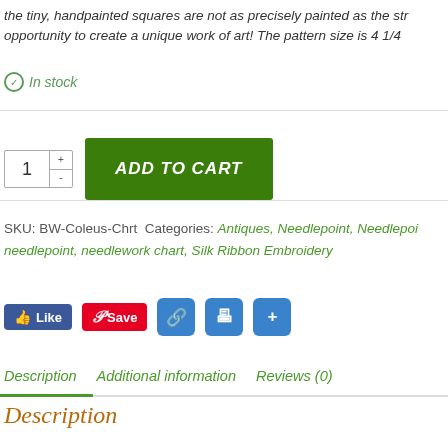the tiny, handpainted squares are not as precisely painted as the str opportunity to create a unique work of art! The pattern size is 4 1/4
⊙ In stock
[Figure (screenshot): Quantity selector with up/down buttons showing '1', and a green 'ADD TO CART' button]
SKU: BW-Coleus-Chrt Categories: Antiques, Needlepoint, Needlepoint needlepoint, needlework chart, Silk Ribbon Embroidery
[Figure (screenshot): Social sharing buttons: Facebook Like, Pinterest Save, link icon, print icon, share icon]
Description  Additional information  Reviews (0)
Description